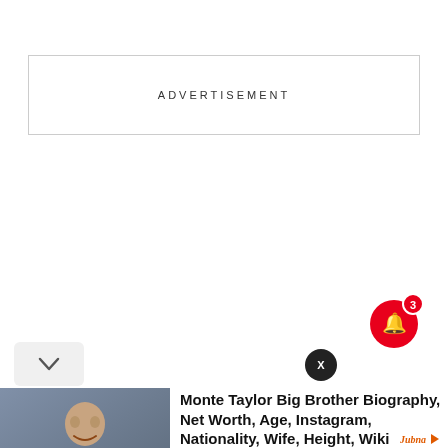[Figure (other): Advertisement placeholder box with border and ADVERTISEMENT text label]
[Figure (other): Red notification bell icon with badge showing number 3]
[Figure (other): Chevron down button (collapse) and X close button for ad unit]
[Figure (photo): Photo of Monte Taylor, a man smiling wearing a striped shirt, against a blue-grey background]
Monte Taylor Big Brother Biography, Net Worth, Age, Instagram, Nationality, Wife, Height, Wiki
ngnews247.com
Jubna